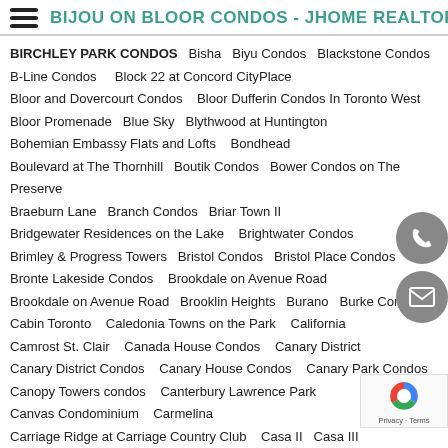BIJOU ON BLOOR CONDOS - JHOME REALTORS
BIRCHLEY PARK CONDOS  Bisha  Biyu Condos  Blackstone Condos  B-Line Condos  Block 22 at Concord CityPlace  Bloor and Dovercourt Condos  Bloor Dufferin Condos In Toronto West  Bloor Promenade  Blue Sky  Blythwood at Huntington  Bohemian Embassy Flats and Lofts  Bondhead  Boulevard at The Thornhill  Boutik Condos  Bower Condos on The Preserve  Braeburn Lane  Branch Condos  Briar Town II  Bridgewater Residences on the Lake  Brightwater Condos  Brimley & Progress Towers  Bristol Condos  Bristol Place Condos  Bronte Lakeside Condos  Brookdale on Avenue Road  Brookdale on Avenue Road  Brooklin Heights  Burano  Burke Condos  Cabin Toronto  Caledonia Towns on the Park  California  Camrost St. Clair  Canada House Condos  Canary District  Canary District Condos  Canary House Condos  Canary Park Condos  Canopy Towers condos  Canterbury Lawrence Park  Canvas Condominium  Carmelina  Carriage Ridge at Carriage Country Club  Casa II  Casa III  Castlefield Design District Condos  Celeste Condos  Celsius Condos  Central Condos  Central District Towns  Central park condos  Centre Park  Centrium  Centro Condos on Yonge  Centro Square C…  CG Tower Condos Expo 5  Charisma Condos  Charlie  Chateau Auberge On The Park Phase3  Chaz  Chedoke Heights